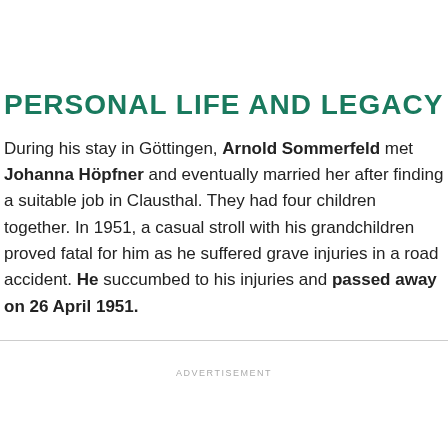PERSONAL LIFE AND LEGACY
During his stay in Göttingen, Arnold Sommerfeld met Johanna Höpfner and eventually married her after finding a suitable job in Clausthal. They had four children together. In 1951, a casual stroll with his grandchildren proved fatal for him as he suffered grave injuries in a road accident. He succumbed to his injuries and passed away on 26 April 1951.
ADVERTISEMENT